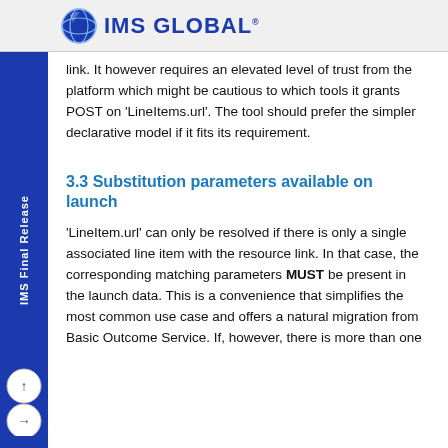IMS GLOBAL
link. It however requires an elevated level of trust from the platform which might be cautious to which tools it grants POST on 'LineItems.url'. The tool should prefer the simpler declarative model if it fits its requirement.
3.3 Substitution parameters available on launch
'LineItem.url' can only be resolved if there is only a single associated line item with the resource link. In that case, the corresponding matching parameters MUST be present in the launch data. This is a convenience that simplifies the most common use case and offers a natural migration from Basic Outcome Service. If, however, there is more than one